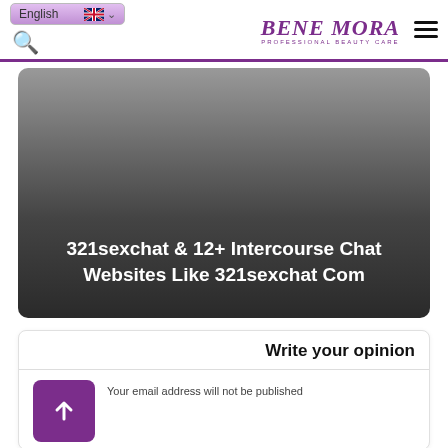English | BENE MORA PROFESSIONAL BEAUTY CARE
[Figure (illustration): Dark gradient hero image background with article title text overlay]
321sexchat & 12+ Intercourse Chat Websites Like 321sexchat Com
Write your opinion
Your email address will not be published